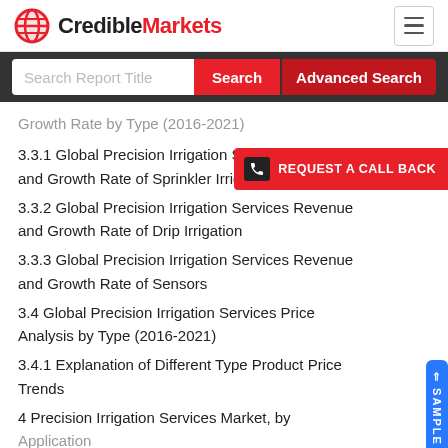CredibleMarkets
Search Report Title
Growth Rate by Type (2016-2021)
3.3.1 Global Precision Irrigation Services Revenue and Growth Rate of Sprinkler Irrigation
3.3.2 Global Precision Irrigation Services Revenue and Growth Rate of Drip Irrigation
3.3.3 Global Precision Irrigation Services Revenue and Growth Rate of Sensors
3.4 Global Precision Irrigation Services Price Analysis by Type (2016-2021)
3.4.1 Explanation of Different Type Product Price Trends
4 Precision Irrigation Services Market, by Application